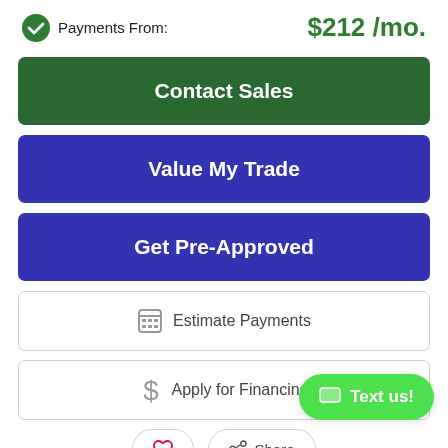Payments From: $212 /mo.
Contact Sales
Value My Trade
Get Pre-Approved
Estimate Payments
Apply for Financing
Text us!